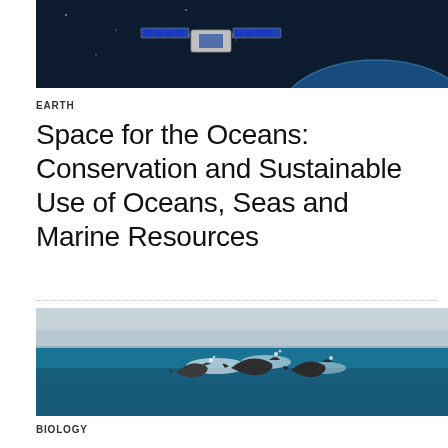[Figure (photo): Satellite in space above Earth, with solar panels visible against blue-black background]
EARTH
Space for the Oceans: Conservation and Sustainable Use of Oceans, Seas and Marine Resources
[Figure (photo): Dolphins or whales surfacing in blue ocean water with waves splashing around them, shoreline visible in background]
BIOLOGY